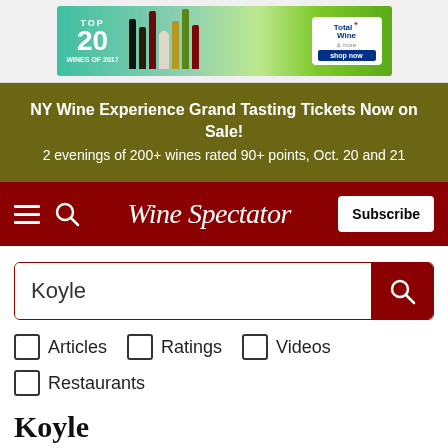[Figure (screenshot): Advertisement banner for Total Wine featuring TOP 20 wines and wine bottle graphics with a green and teal background and 'shop now' button]
NY Wine Experience Grand Tasting Tickets Now on Sale!
2 evenings of 200+ wines rated 90+ points, Oct. 20 and 21
[Figure (screenshot): Wine Spectator navigation bar with hamburger menu, search icon, Wine Spectator logo in italic serif font, and Subscribe button on dark red background]
Koyle
Articles
Ratings
Videos
Restaurants
Koyle